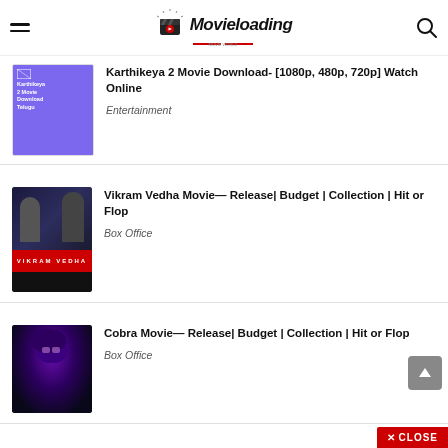Movieloading
Karthikeya 2 Movie Download- [1080p, 480p, 720p] Watch Online — Entertainment
Vikram Vedha Movie— Release| Budget | Collection | Hit or Flop — Box Office
Cobra Movie— Release| Budget | Collection | Hit or Flop — Box Office